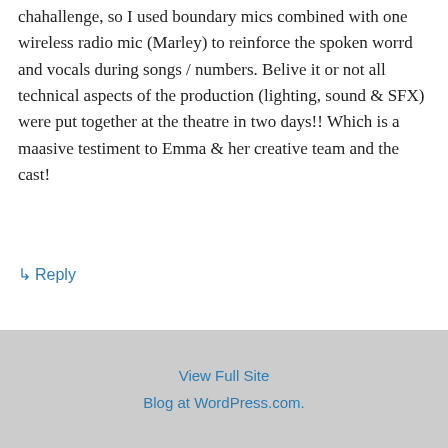chahallenge, so I used boundary mics combined with one wireless radio mic (Marley) to reinforce the spoken worrd and vocals during songs / numbers. Belive it or not all technical aspects of the production (lighting, sound & SFX) were put together at the theatre in two days!! Which is a maasive testiment to Emma & her creative team and the cast!
↳ Reply
View Full Site
Blog at WordPress.com.